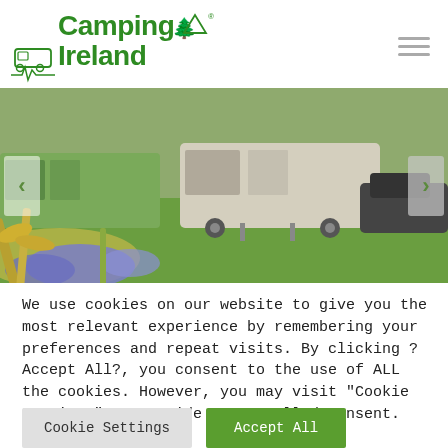[Figure (logo): Camping Ireland logo with green bold text, caravan and tent icon, and a heartbeat line beneath]
[Figure (photo): Outdoor camping photo showing caravans/trailers on green grass with blue and purple flowers in the foreground]
We use cookies on our website to give you the most relevant experience by remembering your preferences and repeat visits. By clicking ?Accept All?, you consent to the use of ALL the cookies. However, you may visit "Cookie Settings" to provide a controlled consent.
Cookie Settings
Accept All